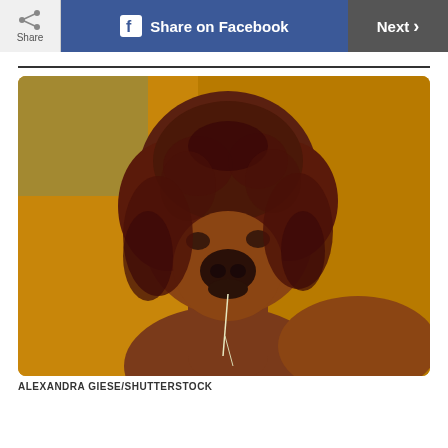Share | Share on Facebook | Next
[Figure (photo): Close-up photograph of a brown alpaca with curly shaggy hair covering its head, looking directly at the camera with a strand of hay in its mouth. Background is blurred golden/yellow wooden panels.]
ALEXANDRA GIESE/SHUTTERSTOCK